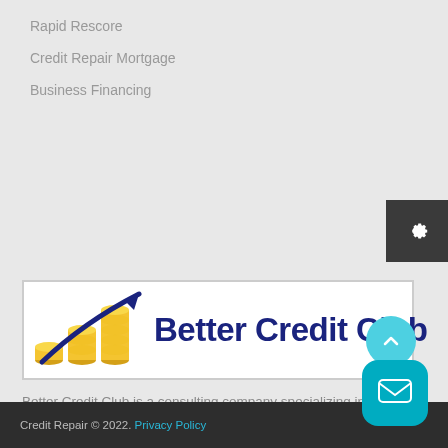Rapid Rescore
Credit Repair Mortgage
Business Financing
[Figure (logo): Better Credit Club logo with golden coin stacks and upward arrow, dark navy text reading 'Better Credit Club']
Better Credit Club is a consulting company specializing in consumer credit and credit score optimization. We have helped thousands of people reach their dreams of home ownership, small business financing and general credit report improvement.
Credit Repair © 2022. Privacy Policy